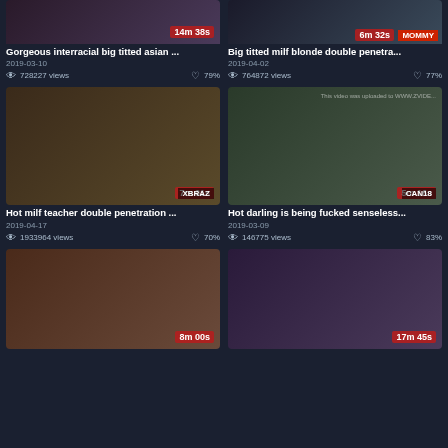[Figure (screenshot): Video thumbnail grid showing adult video listings with thumbnails, titles, dates, view counts and ratings]
Gorgeous interracial big titted asian ... | 2019-03-10 | 728227 views | 79%
Big titted milf blonde double penetra... | 2019-04-02 | 764872 views | 77%
Hot milf teacher double penetration ... | 2019-04-17 | 1933964 views | 70%
Hot darling is being fucked senseless... | 2019-03-09 | 146775 views | 83%